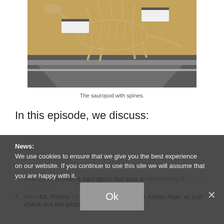[Figure (photo): Museum display of a sauropod dinosaur skeleton with large spines along its back, shown in a natural history museum setting with informational placards.]
The sauropod with spines.
In this episode, we discuss:
News: We use cookies to ensure that we give you the best experience on our website. If you continue to use this site we will assume that you are happy with it.
Mierasaurus was a sauropod, but was a remarkably derived sauropod
Hike Mt. Pelmo for dinosaur tracks in the Italian Alps, or just check out the pictures